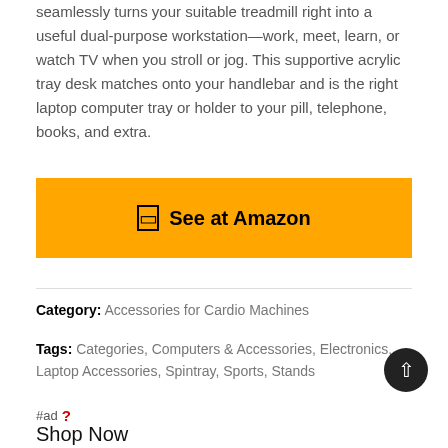seamlessly turns your suitable treadmill right into a useful dual-purpose workstation—work, meet, learn, or watch TV when you stroll or jog. This supportive acrylic tray desk matches onto your handlebar and is the right laptop computer tray or holder to your pill, telephone, books, and extra.
[Figure (other): Yellow button with text 'See at Amazon' and a small icon]
Category: Accessories for Cardio Machines
Tags: Categories, Computers & Accessories, Electronics, Laptop Accessories, Spintray, Sports, Stands
#ad ?
Shop Now